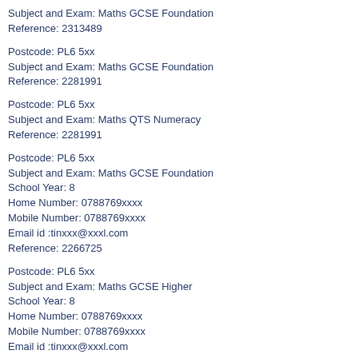Subject and Exam: Maths GCSE Foundation
Reference: 2313489
Postcode: PL6 5xx
Subject and Exam: Maths GCSE Foundation
Reference: 2281991
Postcode: PL6 5xx
Subject and Exam: Maths QTS Numeracy
Reference: 2281991
Postcode: PL6 5xx
Subject and Exam: Maths GCSE Foundation
School Year: 8
Home Number: 0788769xxxx
Mobile Number: 0788769xxxx
Email id :tinxxx@xxxl.com
Reference: 2266725
Postcode: PL6 5xx
Subject and Exam: Maths GCSE Higher
School Year: 8
Home Number: 0788769xxxx
Mobile Number: 0788769xxxx
Email id :tinxxx@xxxl.com